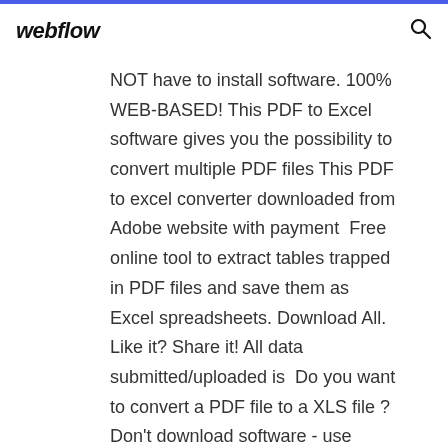webflow
NOT have to install software. 100% WEB-BASED! This PDF to Excel software gives you the possibility to convert multiple PDF files This PDF to excel converter downloaded from Adobe website with payment  Free online tool to extract tables trapped in PDF files and save them as Excel spreadsheets. Download All. Like it? Share it! All data submitted/uploaded is  Do you want to convert a PDF file to a XLS file ? Don't download software - use Zamzar to convert it for free online. Click to convert your PDF file now. Try our completely free PDF to Excel Converter Online. No email needed. after conversion. Your files are accessed only by automated software agents